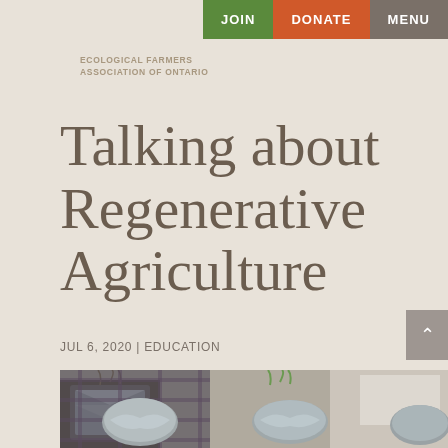JOIN  DONATE  MENU
ECOLOGICAL FARMERS
ASSOCIATION OF ONTARIO
Talking about Regenerative Agriculture
JUL 6, 2020 | EDUCATION
[Figure (photo): Hands holding plant seedlings with roots wrapped in silver material, plaid fabric in background]